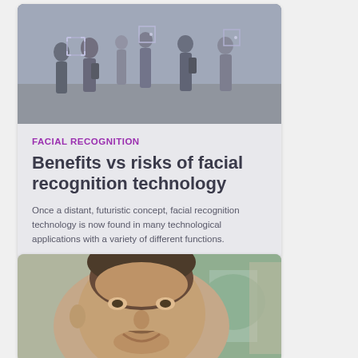[Figure (photo): Blurred crowd of people walking on a street, with facial recognition overlay boxes on detected faces]
FACIAL RECOGNITION
Benefits vs risks of facial recognition technology
Once a distant, futuristic concept, facial recognition technology is now found in many technological applications with a variety of different functions.
[Figure (photo): Close-up of a smiling man's face, bokeh background with green and building colors, representing facial recognition subject]